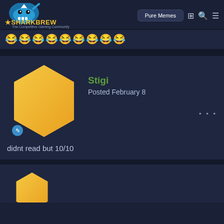SHARKBREW | Pure Memes
😂😂😂😂😂😂😂😂😂
[Figure (illustration): Yellow hexagon avatar with a small blue circular badge icon at bottom left]
Stigi
Posted February 8
didnt read but 10/10
[Figure (illustration): Partial yellow hexagon avatar at bottom of page, second post card]